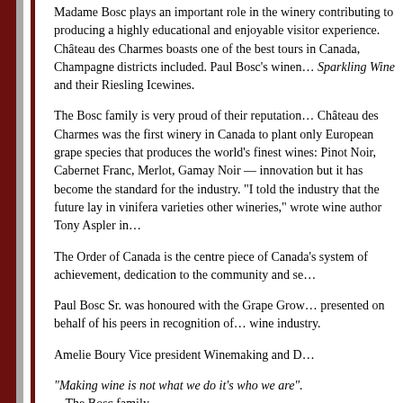Madame Bosc plays an important role in the winery contributing to producing a highly educational and enjoyable visitor experience. Château des Charmes boasts one of the best tours in Canada, Champagne districts included. Paul Bosc's winemaking highlights include Sparkling Wine and their Riesling Icewines.
The Bosc family is very proud of their reputation for firsts. Château des Charmes was the first winery in Canada to plant only European grape species that produces the world's finest wines: Pinot Noir, Cabernet Franc, Merlot, Gamay Noir -- this was innovation but it has become the standard for the industry. "I told the industry that the future lay in vinifera varieties and the rest of other wineries," wrote wine author Tony Aspler in...
The Order of Canada is the centre piece of Canada's system of achievement, dedication to the community and se...
Paul Bosc Sr. was honoured with the Grape Grow... presented on behalf of his peers in recognition of... wine industry.
Amelie Boury Vice president Winemaking and D...
"Making wine is not what we do it's who we are".
-- The Bosc family